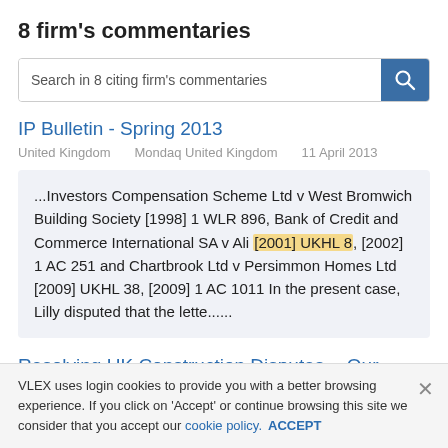8 firm's commentaries
[Figure (screenshot): Search bar with placeholder text 'Search in 8 citing firm's commentaries' and a blue search button with magnifying glass icon]
IP Bulletin - Spring 2013
United Kingdom    Mondaq United Kingdom    11 April 2013
...Investors Compensation Scheme Ltd v West Bromwich Building Society [1998] 1 WLR 896, Bank of Credit and Commerce International SA v Ali [2001] UKHL 8, [2002] 1 AC 251 and Chartbrook Ltd v Persimmon Homes Ltd [2009] UKHL 38, [2009] 1 AC 1011 In the present case, Lilly disputed that the lette......
Resolving UK Construction Disputes – Our Round-Up Of
VLEX uses login cookies to provide you with a better browsing experience. If you click on 'Accept' or continue browsing this site we consider that you accept our cookie policy. ACCEPT